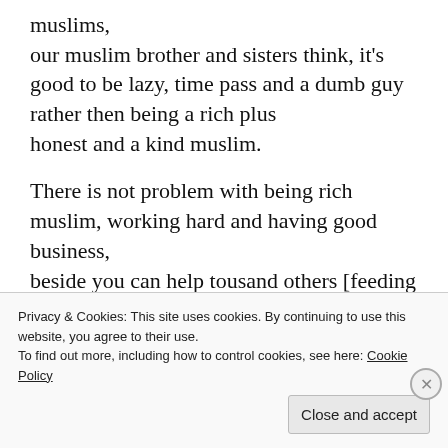muslims,
our muslim brother and sisters think, it's good to be lazy, time pass and a dumb guy rather then being a rich plus
honest and a kind muslim.
There is not problem with being rich muslim, working hard and having good business,
beside you can help tousand others [feeding the poor, needy and water well for them through projects like @MATW organization
Privacy & Cookies: This site uses cookies. By continuing to use this website, you agree to their use.
To find out more, including how to control cookies, see here: Cookie Policy
Close and accept